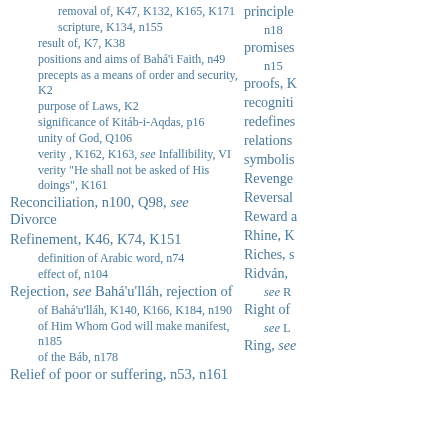removal of, K47, K132, K165, K171
scripture, K134, n155
result of, K7, K38
positions and aims of Bahá'i Faith, n49
precepts as a means of order and security, K2
purpose of Laws, K2
significance of Kitáb-i-Aqdas, p16
unity of God, Q106
verity , K162, K163, see Infallibility, VI
verity "He shall not be asked of His doings", K161
Reconciliation, n100, Q98, see Divorce
Refinement, K46, K74, K151
definition of Arabic word, n74
effect of, n104
Rejection, see Bahá'u'lláh, rejection of
of Bahá'u'lláh, K140, K166, K184, n190
of Him Whom God will make manifest, n185
of the Báb, n178
Relief of poor or suffering, n53, n161
principle n18
promises n15
proofs, K
recogniti
redefines
relations
symbolis
Revenge
Reversal
Reward a
Rhine, K
Riches, s
Ridván, see R
Right of see L
Ring, see